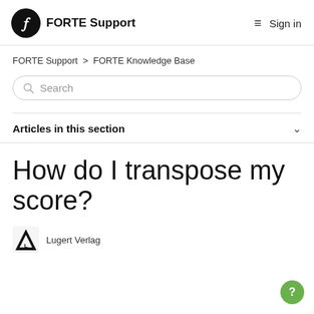FORTE Support   ≡  Sign in
FORTE Support > FORTE Knowledge Base
Search
Articles in this section
How do I transpose my score?
Lugert Verlag